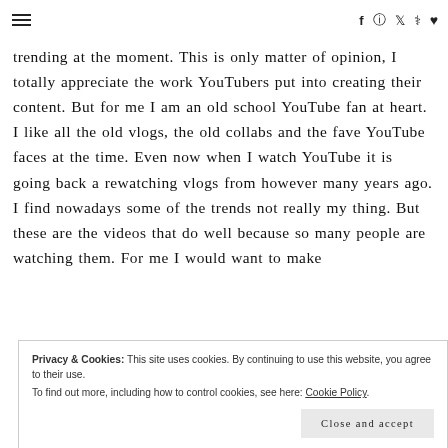≡  f  ◎  🐦  ℗  ♥
trending at the moment. This is only matter of opinion, I totally appreciate the work YouTubers put into creating their content. But for me I am an old school YouTube fan at heart. I like all the old vlogs, the old collabs and the fave YouTube faces at the time. Even now when I watch YouTube it is going back a rewatching vlogs from however many years ago. I find nowadays some of the trends not really my thing. But these are the videos that do well because so many people are watching them. For me I would want to make
Privacy & Cookies: This site uses cookies. By continuing to use this website, you agree to their use.
To find out more, including how to control cookies, see here: Cookie Policy
Close and accept